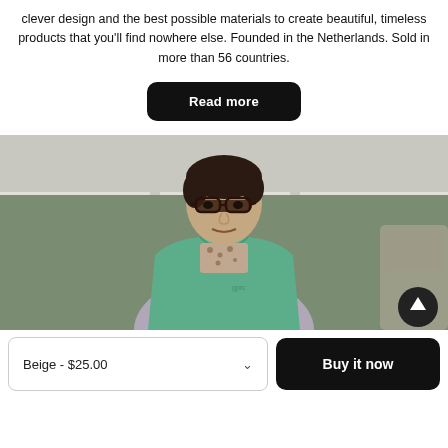clever design and the best possible materials to create beautiful, timeless products that you'll find nowhere else. Founded in the Netherlands. Sold in more than 56 countries.
Read more
[Figure (photo): A woman with short dark hair and glasses wearing a green vest over a leopard-print shirt, standing in what appears to be a workshop or factory setting with a muted olive-green wall behind her. A circular scroll-to-top arrow button appears in the bottom-right corner of the image.]
Beige - $25.00
Buy it now